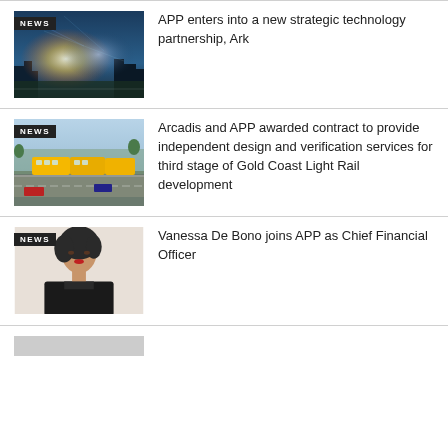[Figure (photo): News thumbnail: cityscape with technology lights overlay; NEWS badge]
APP enters into a new strategic technology partnership, Ark
[Figure (photo): News thumbnail: aerial view of Gold Coast light rail transit; NEWS badge]
Arcadis and APP awarded contract to provide independent design and verification services for third stage of Gold Coast Light Rail development
[Figure (photo): News thumbnail: portrait of Vanessa De Bono; NEWS badge]
Vanessa De Bono joins APP as Chief Financial Officer